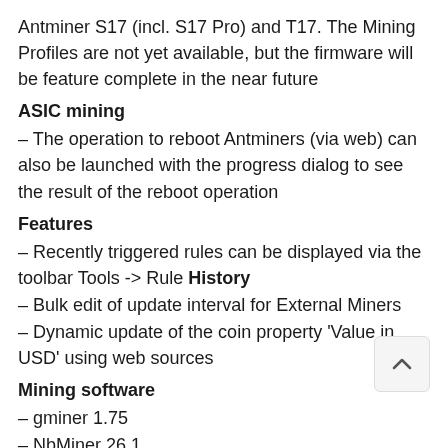Antminer S17 (incl. S17 Pro) and T17. The Mining Profiles are not yet available, but the firmware will be feature complete in the near future
ASIC mining
– The operation to reboot Antminers (via web) can also be launched with the progress dialog to see the result of the reboot operation
Features
– Recently triggered rules can be displayed via the toolbar Tools -> Rule History
– Bulk edit of update interval for External Miners
– Dynamic update of the coin property 'Value in USD' using web sources
Mining software
– gminer 1.75
– NbMiner 26.1
– Miniz Miner 1.5s
– SrbMiner Multi 0.1.7 beta
Changes
– Disable buttons for pool operations for the DevFee pools when using the Awesome Miner Antminer firmware, as